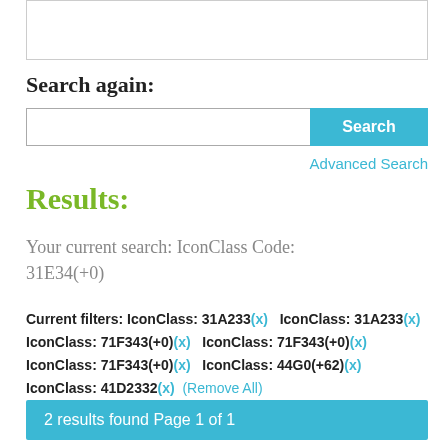[Figure (screenshot): Top box UI element showing partial content above the visible area]
Search again:
[Figure (screenshot): Search bar with text input field and blue Search button]
Advanced Search
Results:
Your current search: IconClass Code: 31E34(+0)
Current filters: IconClass: 31A233(x)   IconClass: 31A233(x) IconClass: 71F343(+0)(x)   IconClass: 71F343(+0)(x) IconClass: 71F343(+0)(x)   IconClass: 44G0(+62)(x) IconClass: 41D2332(x)   (Remove All)
2 results found Page 1 of 1